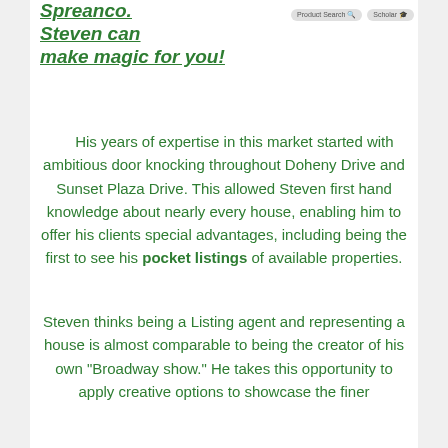Spreanco. Steven can make magic for you!
[Figure (logo): Two small logo/badge icons in the top right area]
His years of expertise in this market started with ambitious door knocking throughout Doheny Drive and Sunset Plaza Drive. This allowed Steven first hand knowledge about nearly every house, enabling him to offer his clients special advantages, including being the first to see his pocket listings of available properties.
Steven thinks being a Listing agent and representing a house is almost comparable to being the creator of his own "Broadway show." He takes this opportunity to apply creative options to showcase the finer